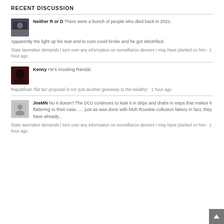RECENT DISCUSSION
Neither R or D There were a bunch of people who died back in 2021.
Apparently the light up his rear end to cure covid broke and he got electrified.
State lawmaker demands I turn over any information on surveillance devices I may have planted on him · 1 hour ago
Kenny He's mocking Randal.
Republican 'flat tax' proposal is not 'just another giveaway to the wealthy' · 1 hour ago
JoeMN No it doesn't The DOJ continues to leak it in drips and drabs in ways that makes it flattering to their case...... just as was done with Muh Rooskie collusion fakery In fact, they have already...
State lawmaker demands I turn over any information on surveillance devices I may have planted on him · 1 hour ago